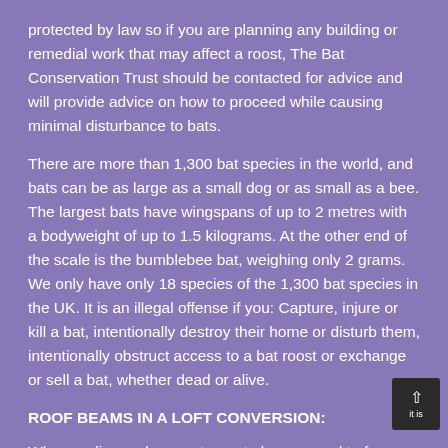protected by law so if you are planning any building or remedial work that may affect a roost, The Bat Conservation Trust should be contacted for advice and will provide advice on how to proceed while causing minimal disturbance to bats.
There are more than 1,300 bat species in the world, and bats can be as large as a small dog or as small as a bee. The largest bats have wingspans of up to 2 metres with a bodyweight of up to 1.5 kilograms. At the other end of the scale is the bumblebee bat, weighing only 2 grams. We only have only 18 species of the 1,300 bat species in the UK. It is an illegal offense if you: Capture, injure or kill a bat, intentionally destroy their home or disturb them, intentionally obstruct access to a bat roost or exchange or sell a bat, whether dead or alive.
ROOF BEAMS IN A LOFT CONVERSION:
When purlins and supports are to be removed to form usable space, alternative support must be provided to the rafters. It is important to establish the total function of the existing purlin